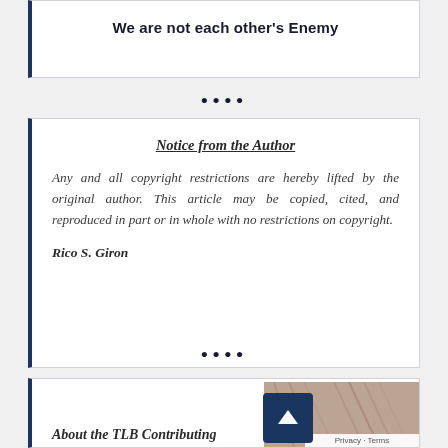We are not each other's Enemy
····
Notice from the Author
Any and all copyright restrictions are hereby lifted by the original author. This article may be copied, cited, and reproduced in part or in whole with no restrictions on copyright.
Rico S. Giron
····
About the TLB Contributing